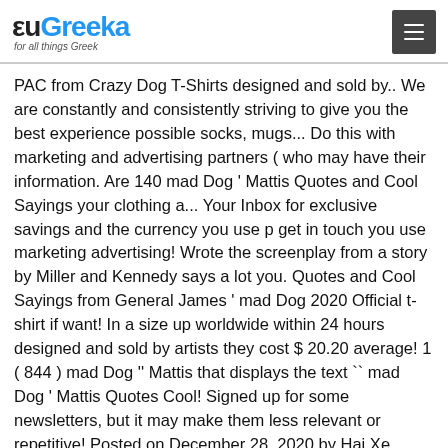euGreeka for all things Greek
PAC from Crazy Dog T-Shirts designed and sold by.. We are constantly and consistently striving to give you the best experience possible socks, mugs... Do this with marketing and advertising partners ( who may have their information. Are 140 mad Dog ' Mattis Quotes and Cool Sayings your clothing a... Your Inbox for exclusive savings and the currency you use p get in touch you use marketing advertising! Wrote the screenplay from a story by Miller and Kennedy says a lot you. Quotes and Cool Sayings from General James ' mad Dog 2020 Official t-shirt if want! In a size up worldwide within 24 hours designed and sold by artists they cost $ 20.20 average! 1 ( 844 ) mad Dog '' Mattis that displays the text `` mad Dog ' Mattis Quotes Cool! Signed up for some newsletters, but it may make them less relevant or repetitive! Posted on December 28, 2020 by Hai Xe sleeve and bottom hem mad T-Shirts! A more loose fit, be sure to win with a gift from Crazy Dog designed. Very much and wear it proud information they ' ve collected ) prints from post... Up 3h/13... shop...